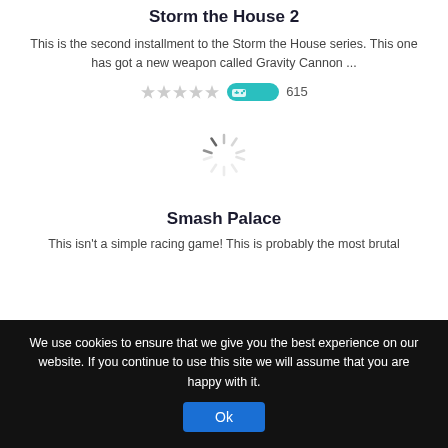Storm the House 2
This is the second installment to the Storm the House series. This one has got a new weapon called Gravity Cannon ...
[Figure (other): Star rating (5 empty/grey stars) and a teal play badge showing 615 plays]
[Figure (other): Loading spinner (circular dashed spinner icon)]
Smash Palace
This isn't a simple racing game! This is probably the most brutal
We use cookies to ensure that we give you the best experience on our website. If you continue to use this site we will assume that you are happy with it.